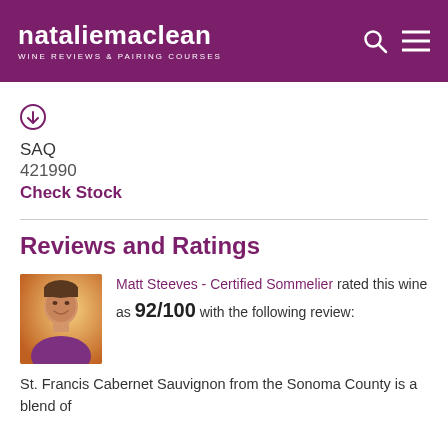nataliemaclean WINE REVIEWS & PAIRING COURSES
[Figure (other): Down arrow circle icon in purple/maroon color]
SAQ
421990
Check Stock
Reviews and Ratings
[Figure (photo): Headshot of Matt Steeves, a smiling man in a purple shirt against an orange/yellow background]
Matt Steeves - Certified Sommelier rated this wine as 92/100 with the following review:
St. Francis Cabernet Sauvignon from the Sonoma County is a blend of